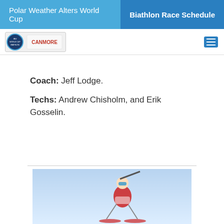Polar Weather Alters World Cup | Biathlon Race Schedule
[Figure (logo): IBU World Cup Biathlon and Canmore event logos]
Coach: Jeff Lodge.
Techs: Andrew Chisholm, and Erik Gosselin.
[Figure (photo): Biathlon athlete skiing with rifle, blue sky background]